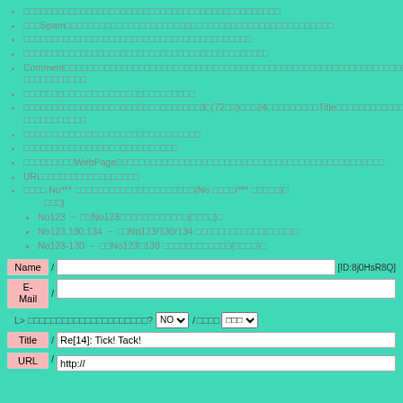□□□□□□□□□□□□□□□□□□□□□□□□□□□□□□□□□□□□□□□□□□□□□
□□□Spam□□□□□□□□□□□□□□□□□□□□□□□□□□□□□□□□□□□□□□□□□□□□□□□
□□□□□□□□□□□□□□□□□□□□□□□□□□□□□□□□□□□□□□□□
□□□□□□□□□□□□□□□□□□□□□□□□□□□□□□□□□□□□□□□□□□□
Comment□□□□□□□□□□□□□□□□□□□□□□□□□□□□□□□□□□□□□□□□□□□□□□□□□□□□□□□□□□□□□□□□□□□□□□□□□□□□□□□□□□□□□□□□□□□□□□
□□□□□□□□□□□□□□□□□□□□□□□□□□□□□□
□□□□□□□□□□□□□□□□□□□□□□□□□□□□□□□3□(72□□)□□□24□□□□□□□□□Title□□□□□□□□□□□□□□□□□□□□□□□□□□□□□□□□□□□□□□□□□□□□□
□□□□□□□□□□□□□□□□□□□□□□□□□□□□□□□
□□□□□□□□□□□□□□□□□□□□□□□□□□□
□□□□□□□□□WebPage□□□□□□□□□□□□□□□□□□□□□□□□□□□□□□□□□□□□□□□□□□□□□□□
URL□□□□□□□□□□□□□□□□□
□□□□ No*** □□□□□□□□□□□□□□□□□□□□□(No □□□□/*** □□□□□)□ □□□) No123 → □□No123□□□□□□□□□□□□(□□□□)□ No123,130,134 → □□No123/130/134 □□□□□□□□□□□□(□□□□)□ No123-130 → □□No123□130 □□□□□□□□□□□□(□□□□)□
Name / [ID:8j0HsR8Q]
E-Mail /
L> □□□□□□□□□□□□□□□□□□□□□? NO / □□□□ □□□
Title / Re[14]: Tick! Tack!
URL / http://